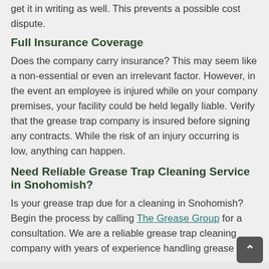get it in writing as well. This prevents a possible cost dispute.
Full Insurance Coverage
Does the company carry insurance? This may seem like a non-essential or even an irrelevant factor. However, in the event an employee is injured while on your company premises, your facility could be held legally liable. Verify that the grease trap company is insured before signing any contracts. While the risk of an injury occurring is low, anything can happen.
Need Reliable Grease Trap Cleaning Service in Snohomish?
Is your grease trap due for a cleaning in Snohomish? Begin the process by calling The Grease Group for a consultation. We are a reliable grease trap cleaning company with years of experience handling grease traps and ensuring proper maintenance. We will be